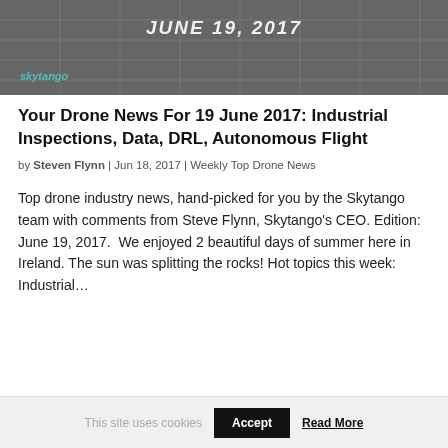[Figure (photo): Header image with dark architectural/building grid texture and 'skytango' logo watermark in teal. Shows partial text 'JUNE 19, 2017' in bold italic white.]
Your Drone News For 19 June 2017: Industrial Inspections, Data, DRL, Autonomous Flight
by Steven Flynn | Jun 18, 2017 | Weekly Top Drone News
Top drone industry news, hand-picked for you by the Skytango team with comments from Steve Flynn, Skytango's CEO. Edition: June 19, 2017.  We enjoyed 2 beautiful days of summer here in Ireland. The sun was splitting the rocks! Hot topics this week: Industrial...
This site uses cookies
Accept
Read More